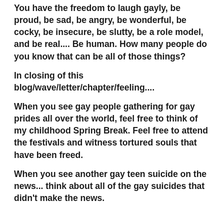You have the freedom to laugh gayly, be proud, be sad, be angry, be wonderful, be cocky, be insecure, be slutty, be a role model, and be real.... Be human.  How many people do you know that can be all of those things?
In closing of this blog/wave/letter/chapter/feeling....
When you see gay people gathering for gay prides all over the world, feel free to think of my childhood Spring Break.  Feel free to attend the festivals and witness tortured souls that have been freed.
When you see another gay teen suicide on the news... think about all of the gay suicides that didn't make the news.